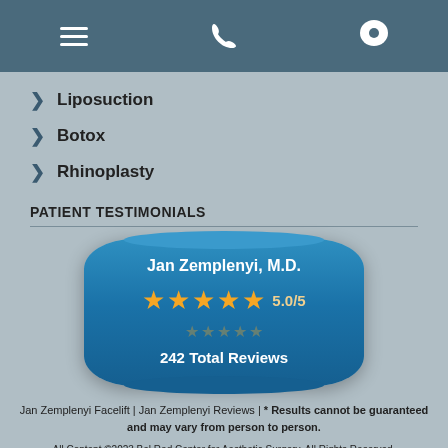Navigation bar with menu, phone, and location icons
Liposuction
Botox
Rhinoplasty
PATIENT TESTIMONIALS
[Figure (infographic): Blue rounded badge showing Jan Zemplenyi, M.D. with 5-star rating of 5.0/5 and 242 Total Reviews]
Jan Zemplenyi Facelift | Jan Zemplenyi Reviews | * Results cannot be guaranteed and may vary from person to person.
All Content ©2023 Bel Red Center for Aesthetic Surgery. All Rights Reserved.